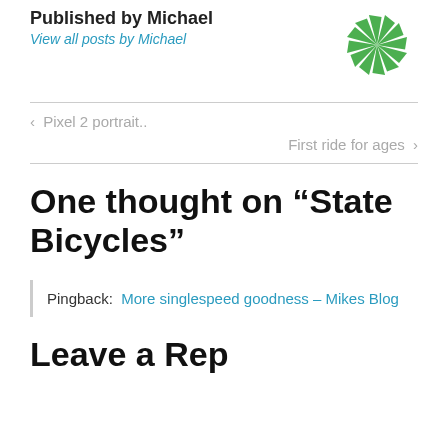Published by Michael
View all posts by Michael
[Figure (logo): Green pinwheel/sunflower logo made of triangular segments]
< Pixel 2 portrait..
First ride for ages >
One thought on “State Bicycles”
Pingback:  More singlespeed goodness – Mikes Blog
Leave a Reply